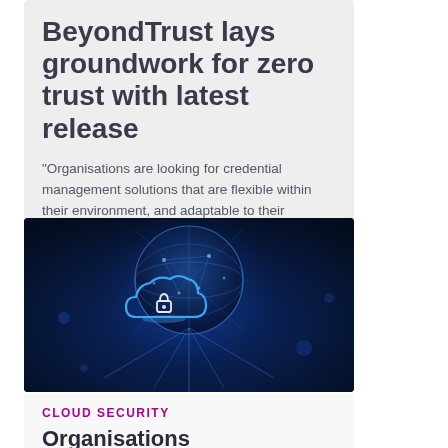BeyondTrust lays groundwork for zero trust with latest release
"Organisations are looking for credential management solutions that are flexible within their environment, and adaptable to their business-critical needs."
[Figure (photo): Dark blue digital image showing a glowing cloud with a padlock icon on top of a globe/planet, with light streaks emanating outward on a dark navy background — representing cloud security.]
CLOUD SECURITY
Organisations